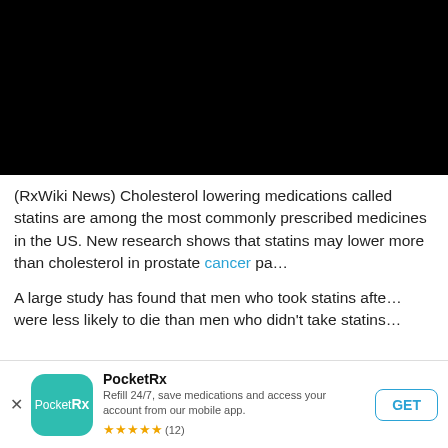[Figure (photo): Black image area at top of page (video thumbnail or image placeholder)]
(RxWiki News) Cholesterol lowering medications called statins are among the most commonly prescribed medicines in the US. New research shows that statins may lower more than cholesterol in prostate cancer pa...
A large study has found that men who took statins after a prostate cancer diagnosis were less likely to die than men who didn't take statins...
[Figure (screenshot): PocketRx app advertisement banner. App icon with teal background, name PocketRx, description: Refill 24/7, save medications and access your account from our mobile app. 5 star rating (12). GET button.]